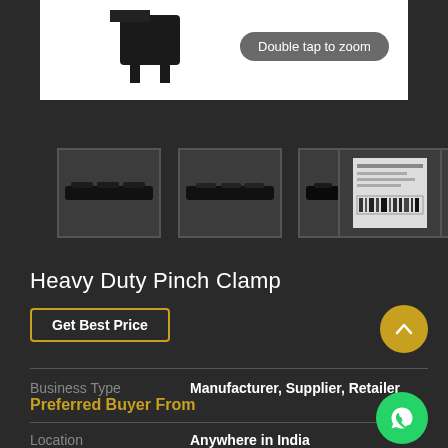[Figure (photo): Product image of Heavy Duty Pinch Clamp shown on white background with 'Double tap to zoom' overlay badge]
[Figure (photo): Thumbnail 1: Heavy Duty Pinch Clamp side view]
[Figure (photo): Thumbnail 2: Heavy Duty Pinch Clamp front view]
[Figure (photo): Thumbnail 3: Document/datasheet image of Heavy Duty Pinch Clamp]
Heavy Duty Pinch Clamp
Get Best Price
| Business Type |  |
| --- | --- |
| Business Type | Manufacturer, Supplier, Retailer |
Preferred Buyer From
| Location |  |
| --- | --- |
| Location | Anywhere in India |